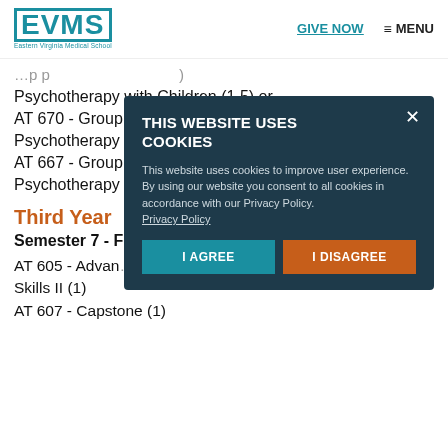EVMS Eastern Virginia Medical School | GIVE NOW | MENU
Psychotherapy with Children (1.5) or AT 670 - Group Supervision Counseling & Psychotherapy with Adolescents (1.5) or AT 667 - Group Supervision Counseling & Psychotherapy
Third Year
Semester 7 - F
AT 605 - Advanced Skills II (1)
AT 607 - Capstone (1)
[Figure (screenshot): Cookie consent modal dialog with dark teal background. Title: 'THIS WEBSITE USES COOKIES'. Body text: 'This website uses cookies to improve user experience. By using our website you consent to all cookies in accordance with our Privacy Policy.' Link: 'Privacy Policy'. Buttons: 'I AGREE' (teal) and 'I DISAGREE' (orange).]